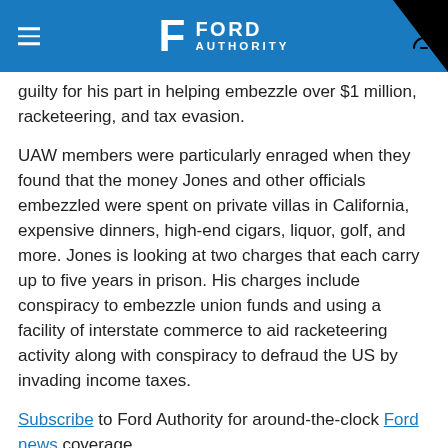Ford Authority
guilty for his part in helping embezzle over $1 million, racketeering, and tax evasion.
UAW members were particularly enraged when they found that the money Jones and other officials embezzled were spent on private villas in California, expensive dinners, high-end cigars, liquor, golf, and more. Jones is looking at two charges that each carry up to five years in prison. His charges include conspiracy to embezzle union funds and using a facility of interstate commerce to aid racketeering activity along with conspiracy to defraud the US by invading income taxes.
Subscribe to Ford Authority for around-the-clock Ford news coverage.